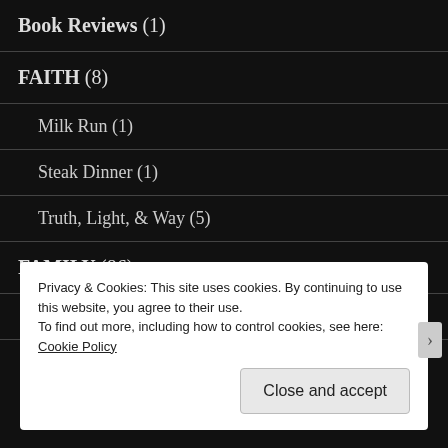Book Reviews (1)
FAITH (8)
Milk Run (1)
Steak Dinner (1)
Truth, Light, & Way (5)
FAMILY (86)
Asperger's (5)
Frugal Choices (3)
Privacy & Cookies: This site uses cookies. By continuing to use this website, you agree to their use.
To find out more, including how to control cookies, see here: Cookie Policy
Close and accept